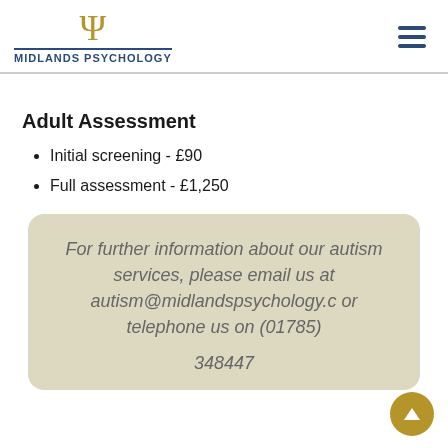Midlands Psychology
Adult Assessment
Initial screening - £90
Full assessment - £1,250
For further information about our autism services, please email us at autism@midlandspsychology.c or telephone us on (01785) 348447